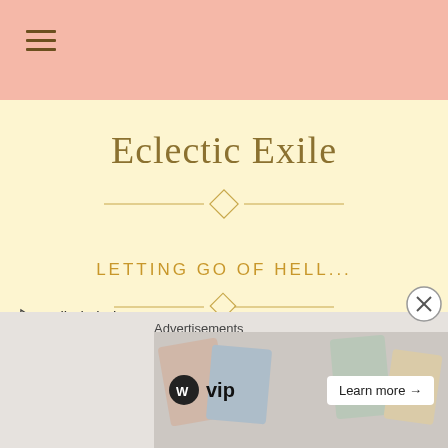≡
Eclectic Exile
LETTING GO OF HELL...
✏ ExiledMind
🗂 Religion
💬 7 Comments
“And they say it would be a waste of time to pray,
Advertisements
[Figure (other): WordPress VIP advertisement banner with 'Learn more →' button]